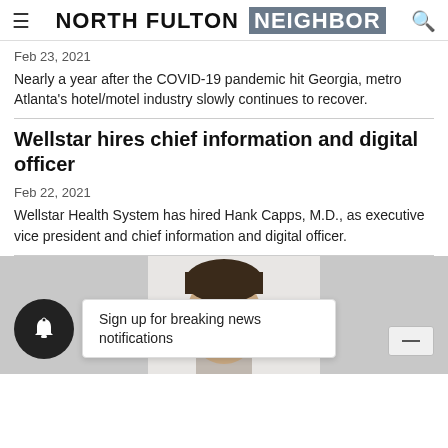NORTH FULTON NEIGHBOR
Feb 23, 2021
Nearly a year after the COVID-19 pandemic hit Georgia, metro Atlanta's hotel/motel industry slowly continues to recover.
Wellstar hires chief information and digital officer
Feb 22, 2021
Wellstar Health System has hired Hank Capps, M.D., as executive vice president and chief information and digital officer.
[Figure (photo): Headshot photo of a man with dark hair, partially visible from forehead to chin, centered in a gray-toned image panel.]
Sign up for breaking news notifications